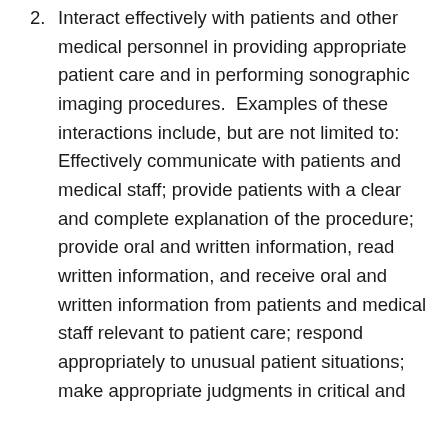2. Interact effectively with patients and other medical personnel in providing appropriate patient care and in performing sonographic imaging procedures.  Examples of these interactions include, but are not limited to: Effectively communicate with patients and medical staff; provide patients with a clear and complete explanation of the procedure; provide oral and written information, read written information, and receive oral and written information from patients and medical staff relevant to patient care; respond appropriately to unusual patient situations; make appropriate judgments in critical and